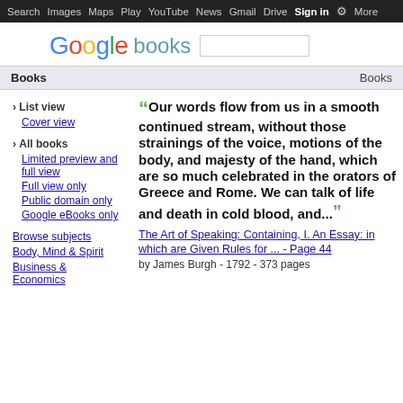Search  Images  Maps  Play  YouTube  News  Gmail  Drive  More  Sign in  [gear]
[Figure (logo): Google books logo with search box]
Books   Books
› List view
Cover view
› All books
Limited preview and full view
Full view only
Public domain only
Google eBooks only
Browse subjects
Body, Mind & Spirit
Business & Economics
Our words flow from us in a smooth continued stream, without those strainings of the voice, motions of the body, and majesty of the hand, which are so much celebrated in the orators of Greece and Rome. We can talk of life and death in cold blood, and...
The Art of Speaking: Containing, I. An Essay: in which are Given Rules for ... - Page 44
by James Burgh - 1792 - 373 pages